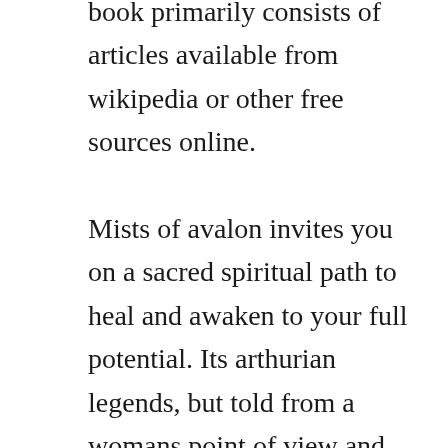book primarily consists of articles available from wikipedia or other free sources online.

Mists of avalon invites you on a sacred spiritual path to heal and awaken to your full potential. Its arthurian legends, but told from a womans point of view and with lots of changes. We also need any information about good english torrent. Produced by american cable channel tnt, adapted by gavin scott, and directed by uli edel, the series is a retelling of the arthurian legend with an emphasis on the perspectives of morgan le fay and other women of the tale. Read download the mists